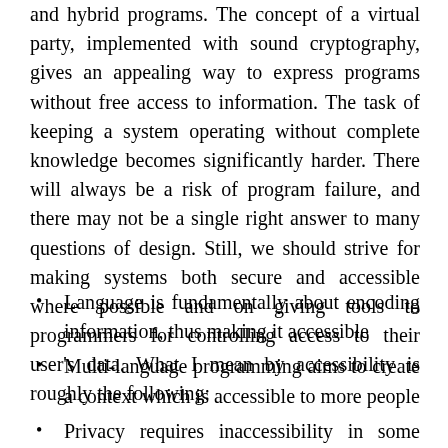and hybrid programs. The concept of a virtual party, implemented with sound cryptography, gives an appealing way to express programs without free access to information. The task of keeping a system operating without complete knowledge becomes significantly harder. There will always be a risk of program failure, and there may not be a single right answer to many questions of design. Still, we should strive for making systems both secure and accessible where possible and on giving tools to programmers for controlling access to their user's data. What I mean by accessibility is roughly the following:
Language is fundamentally about encoding information, thus making it accessible
Multi-language programming aims to create a context which is accessible to more people
Privacy requires inaccessibility in some form or